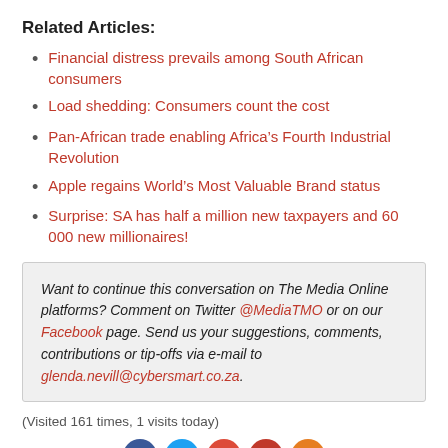Related Articles:
Financial distress prevails among South African consumers
Load shedding: Consumers count the cost
Pan-African trade enabling Africa's Fourth Industrial Revolution
Apple regains World's Most Valuable Brand status
Surprise: SA has half a million new taxpayers and 60 000 new millionaires!
Want to continue this conversation on The Media Online platforms? Comment on Twitter @MediaTMO or on our Facebook page. Send us your suggestions, comments, contributions or tip-offs via e-mail to glenda.nevill@cybersmart.co.za.
(Visited 161 times, 1 visits today)